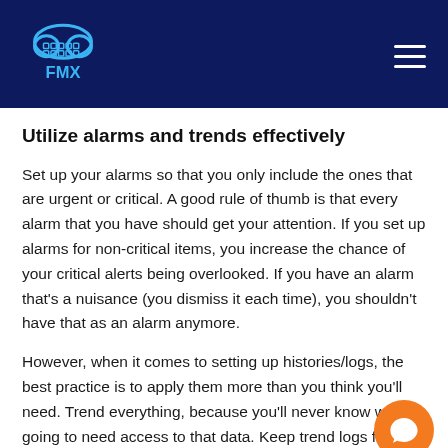FMX
Utilize alarms and trends effectively
Set up your alarms so that you only include the ones that are urgent or critical. A good rule of thumb is that every alarm that you have should get your attention. If you set up alarms for non-critical items, you increase the chance of your critical alerts being overlooked. If you have an alarm that's a nuisance (you dismiss it each time), you shouldn't have that as an alarm anymore.
However, when it comes to setting up histories/logs, the best practice is to apply them more than you think you'll need. Trend everything, because you'll never know when y going to need access to that data. Keep trend logs f month. There's rarely a case where you'll need to go back